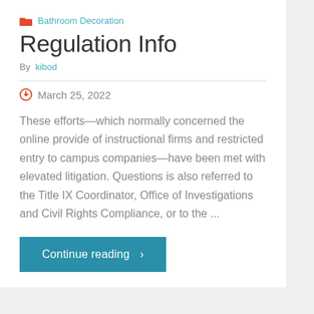Bathroom Decoration
Regulation Info
By kibod
March 25, 2022
These efforts—which normally concerned the online provide of instructional firms and restricted entry to campus companies—have been met with elevated litigation. Questions is also referred to the Title IX Coordinator, Office of Investigations and Civil Rights Compliance, or to the ...
Continue reading >